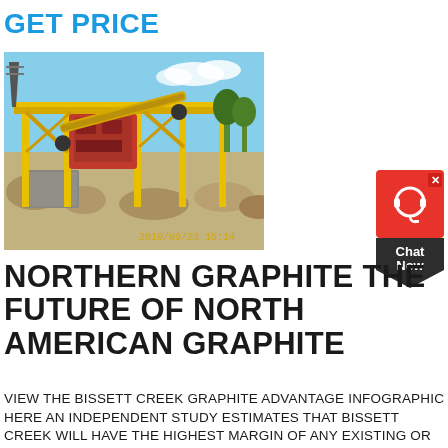GET PRICE
[Figure (photo): Outdoor photo of large yellow industrial mining/crushing equipment at a quarry or mine site, with rocky ground and blue sky in background. Timestamp: 2010/09/23 15:14]
[Figure (other): Chat Now widget button with red background, headset icon, and dark chevron-shaped bottom section with 'Chat Now' text]
NORTHERN GRAPHITE THE FUTURE OF NORTH AMERICAN GRAPHITE
VIEW THE BISSETT CREEK GRAPHITE ADVANTAGE INFOGRAPHIC HERE AN INDEPENDENT STUDY ESTIMATES THAT BISSETT CREEK WILL HAVE THE HIGHEST MARGIN OF ANY EXISTING OR PROPOSED GRAPHITE DEPOSIT. THIS IS DUE TO ITS VERY FAVORABLE